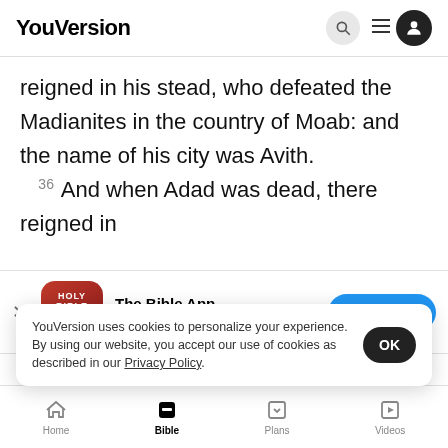YouVersion
reigned in his stead, who defeated the Madianites in the country of Moab: and the name of his city was Avith.
36 And when Adad was dead, there reigned in
[Figure (screenshot): The Bible App download banner with app icon (Holy Bible book), 5 stars rating, 7.9M reviews, and a blue Download button]
Ronobo
38 An
YouVersion uses cookies to personalize your experience. By using our website, you accept our use of cookies as described in our Privacy Policy.
Home   Bible   Plans   Videos